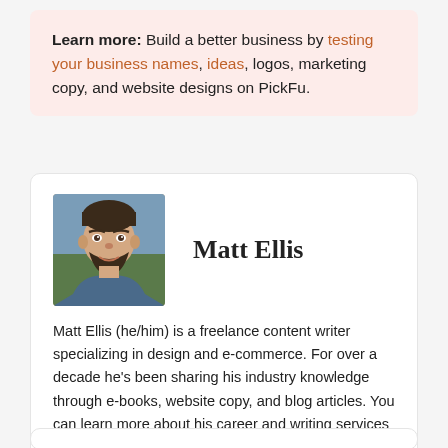Learn more: Build a better business by testing your business names, ideas, logos, marketing copy, and website designs on PickFu.
Matt Ellis
[Figure (photo): Headshot photo of Matt Ellis, a man with dark hair and beard, smiling]
Matt Ellis (he/him) is a freelance content writer specializing in design and e-commerce. For over a decade he's been sharing his industry knowledge through e-books, website copy, and blog articles. You can learn more about his career and writing services on his portfolio site, mattelliscontentwriter.com.